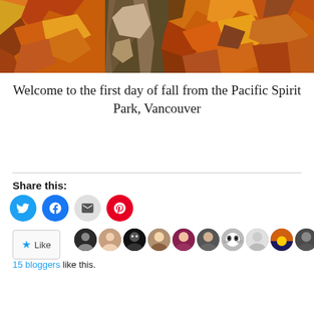[Figure (illustration): Stylized autumn scene showing a tree trunk with orange, yellow, brown, and green leaves in a pop-art/posterized style]
Welcome to the first day of fall from the Pacific Spirit Park, Vancouver
Share this:
[Figure (infographic): Social share buttons: Twitter (blue circle), Facebook (blue circle), Email (gray circle), Pinterest (red circle)]
[Figure (infographic): Like button with star icon and a row of 11 blogger avatar profile pictures]
15 bloggers like this.